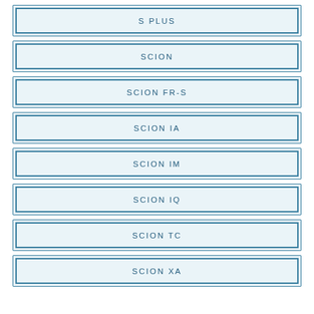S PLUS
SCION
SCION FR-S
SCION IA
SCION IM
SCION IQ
SCION TC
SCION XA